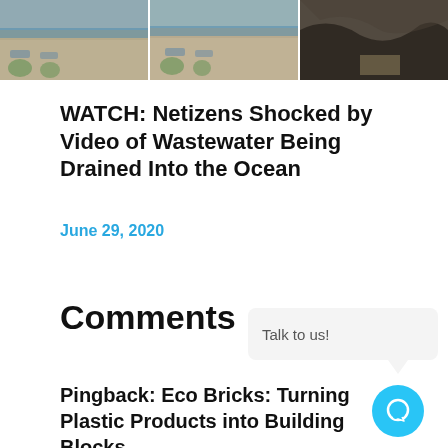[Figure (photo): Three-panel photo strip showing aerial/overhead beach/water views with sand, water, and what appears to be wastewater discharge]
WATCH: Netizens Shocked by Video of Wastewater Being Drained Into the Ocean
June 29, 2020
Comments
Talk to us!
Pingback: Eco Bricks: Turning Plastic Products into Building Blocks